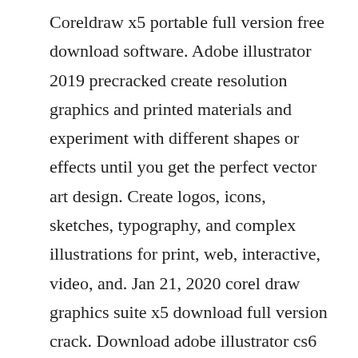Coreldraw x5 portable full version free download software. Adobe illustrator 2019 precracked create resolution graphics and printed materials and experiment with different shapes or effects until you get the perfect vector art design. Create logos, icons, sketches, typography, and complex illustrations for print, web, interactive, video, and. Jan 21, 2020 corel draw graphics suite x5 download full version crack. Download adobe illustrator cs6 for pc free and full version. Download coreldraw x6 full version pada tahun 2012. corel sebagai pihak developer.